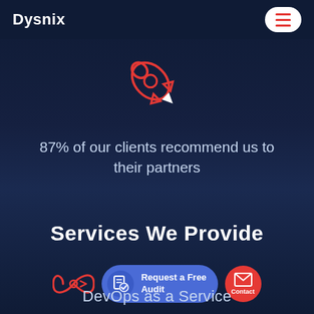Dysnix
[Figure (illustration): Red outline rocket icon pointing upper-right on dark blue background]
87% of our clients recommend us to their partners
Services We Provide
[Figure (infographic): Bottom UI bar with infinity icon, 'Request a Free Audit' blue pill button, and red circular Contact button with envelope icon]
DevOps as a Service